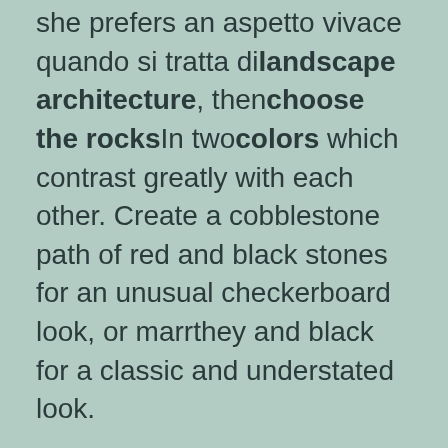she prefers an aspetto vivace quando si tratta di landscape architecture, then choose the rocks In two colors which contrast greatly with each other. Create a cobblestone path of red and black stones for an unusual checkerboard look, or marrthey and black for a classic and understated look.
Author: Cynthia Measom
21 September 2010
While gravel serves a driveway well, it often lacks pizzazz. Adding color to a gravel driveway can liven up your landscape